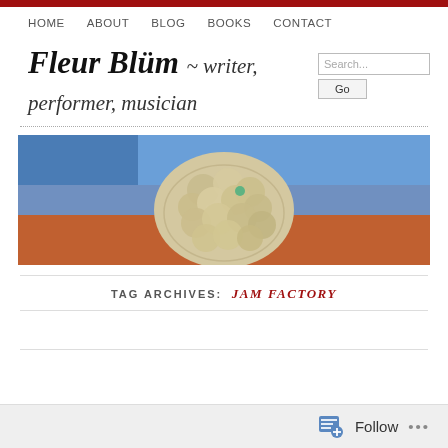HOME   ABOUT   BLOG   BOOKS   CONTACT
Fleur Blüm ~ writer, performer, musician
[Figure (photo): Close-up photograph of knotted rope against a colorful boat hull (blue, red, orange) with blue sky in the background]
TAG ARCHIVES: JAM FACTORY
Follow ...